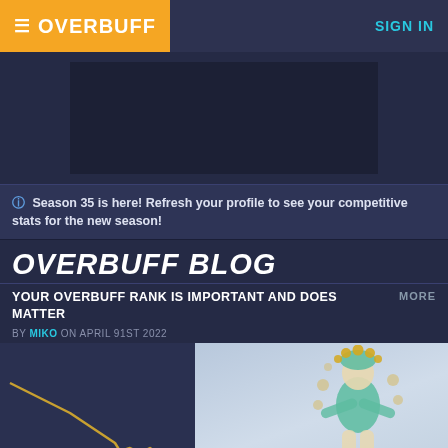OVERBUFF
[Figure (screenshot): Advertisement banner placeholder (dark rectangle)]
Season 35 is here! Refresh your profile to see your competitive stats for the new season!
OVERBUFF BLOG
YOUR OVERBUFF RANK IS IMPORTANT AND DOES MATTER
BY MIKO ON APRIL 91ST 2022
[Figure (infographic): Article preview image split: left shows a dark chart with orange/gold line chart trending downward, right shows a game character (Overwatch hero) standing against a light blue/gray background]